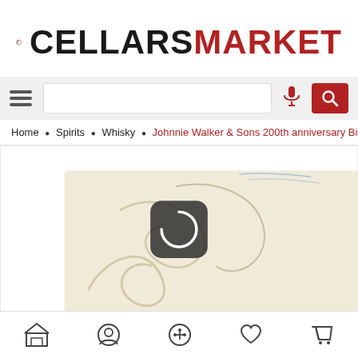[Figure (logo): CellarsMarket logo with circular swoosh icon and text CELLARSMARKET where CELLARS is black and MARKET is red]
[Figure (screenshot): Search bar with hamburger menu icon on left, microphone icon, and red search button on right]
Home • Spirits • Whisky • Johnnie Walker & Sons 200th anniversary Bice...
[Figure (photo): Close-up of a cream/ivory colored luxury whisky box with decorative swirl engravings and a gold bottle cap visible]
[Figure (screenshot): Bottom navigation bar with icons for store, user profile, share, heart/favorites, and cart]